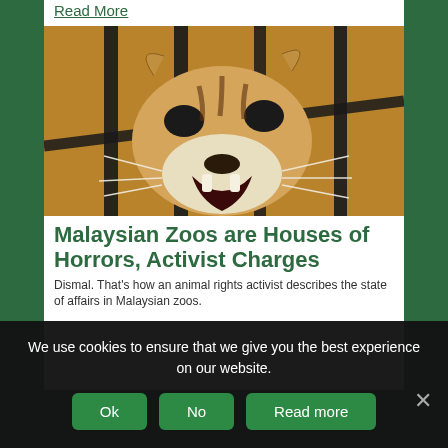Read More
[Figure (photo): A tiger with open mouth snarling behind metal cage bars, close-up photograph]
Malaysian Zoos are Houses of Horrors, Activist Charges
Dismal. That's how an animal rights activist describes the state of affairs in Malaysian zoos.
We use cookies to ensure that we give you the best experience on our website.